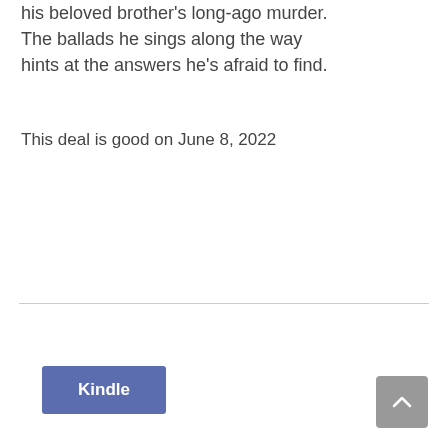his beloved brother's long-ago murder. The ballads he sings along the way hints at the answers he's afraid to find.
This deal is good on June 8, 2022
[Figure (other): Kindle button — a blue rectangular button with white bold text 'Kindle']
[Figure (other): Back to top arrow button — grey rounded square with upward chevron arrow icon in white]